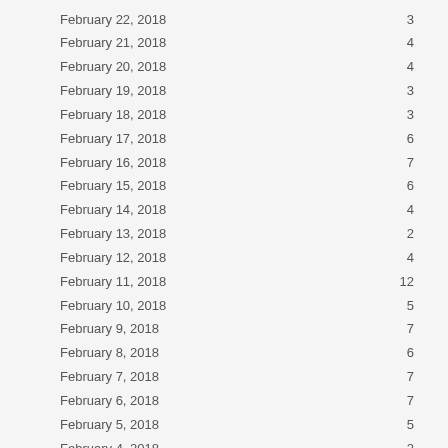| Date | Value |
| --- | --- |
| February 22, 2018 | 3 |
| February 21, 2018 | 4 |
| February 20, 2018 | 4 |
| February 19, 2018 | 3 |
| February 18, 2018 | 3 |
| February 17, 2018 | 6 |
| February 16, 2018 | 7 |
| February 15, 2018 | 6 |
| February 14, 2018 | 4 |
| February 13, 2018 | 2 |
| February 12, 2018 | 4 |
| February 11, 2018 | 12 |
| February 10, 2018 | 5 |
| February 9, 2018 | 7 |
| February 8, 2018 | 6 |
| February 7, 2018 | 7 |
| February 6, 2018 | 7 |
| February 5, 2018 | 5 |
| February 4, 2018 | 2 |
| February 3, 2018 | 7 |
| February 2, 2018 | 7 |
| February 1, 2018 | 7 |
| January 31, 2018 | 4 |